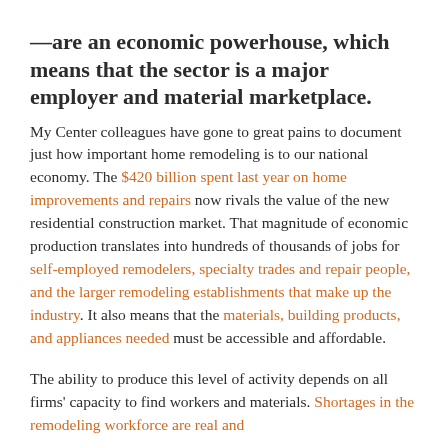—are an economic powerhouse, which means that the sector is a major employer and material marketplace.
My Center colleagues have gone to great pains to document just how important home remodeling is to our national economy. The $420 billion spent last year on home improvements and repairs now rivals the value of the new residential construction market. That magnitude of economic production translates into hundreds of thousands of jobs for self-employed remodelers, specialty trades and repair people, and the larger remodeling establishments that make up the industry. It also means that the materials, building products, and appliances needed must be accessible and affordable.
The ability to produce this level of activity depends on all firms' capacity to find workers and materials. Shortages in the remodeling workforce are real and...